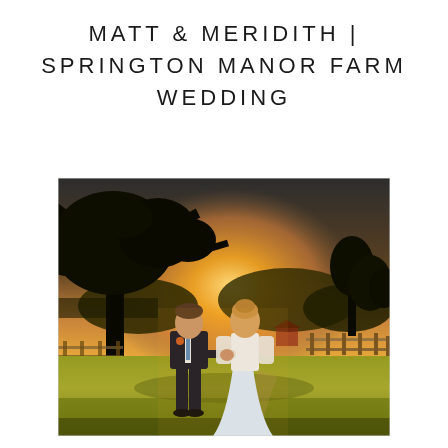MATT & MERIDITH | SPRINGTON MANOR FARM WEDDING
[Figure (photo): A bride in a white lace gown and groom in a dark suit hold hands and walk across a green lawn at golden hour sunset, with a large tree and farm fencing visible in the background at Springton Manor Farm.]